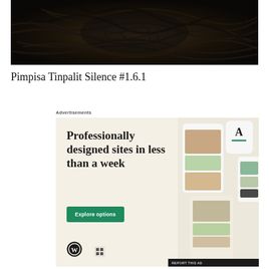[Figure (photo): Dark overhead photo of tangled black cables/cords on a dark surface]
Pimpisa Tinpalit Silence #1.6.1
Advertisements
[Figure (illustration): WordPress advertisement with cream background. Headline: 'Professionally designed sites in less than a week'. Green 'Explore options' button. WordPress logo at bottom left. Phone/tablet mockups showing website designs on the right side. Small Squarespace icon at bottom center. 'REPORT THIS AD' bar at bottom right.]